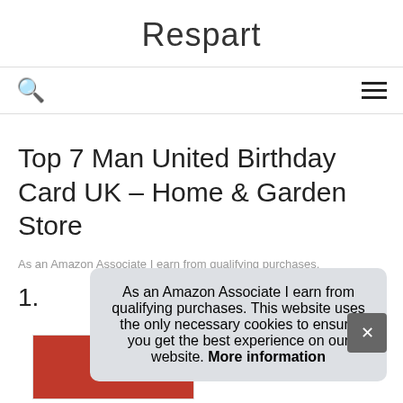Respart
Top 7 Man United Birthday Card UK – Home & Garden Store
As an Amazon Associate I earn from qualifying purchases.
1.
As an Amazon Associate I earn from qualifying purchases. This website uses the only necessary cookies to ensure you get the best experience on our website. More information